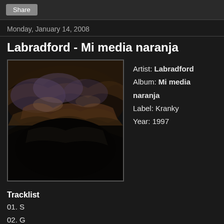Share
Monday, January 14, 2008
Labradford - Mi media naranja
[Figure (photo): Album cover art for Labradford - Mi media naranja, a dark, moody photo of rocky/cave-like textures in dark blues and browns]
Artist: Labradford
Album: Mi media naranja
Label: Kranky
Year: 1997
Tracklist
01. S
02. G
03. WR